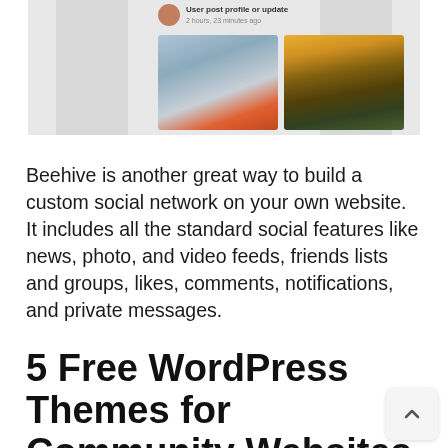[Figure (screenshot): Screenshot of a social media or community website interface showing a user avatar/profile bar at top and two photo thumbnails below — one appears to be a winter/foggy landscape and one a sunset over a field.]
Beehive is another great way to build a custom social network on your own website. It includes all the standard social features like news, photo, and video feeds, friends lists and groups, likes, comments, notifications, and private messages.
5 Free WordPress Themes for Community Websites